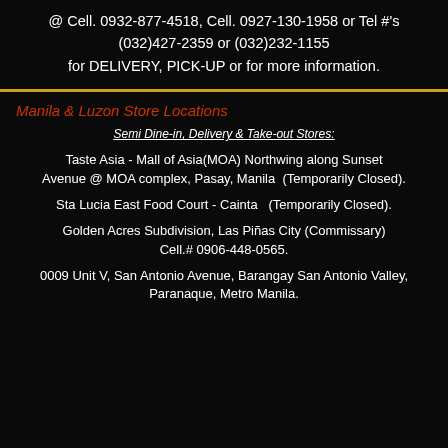@ Cell. 0932-877-4518, Cell. 0927-130-1958 or Tel #'s (032)427-2359 or (032)232-1155 for DELIVERY, PICK-UP or for more information.
Manila & Luzon Store Locations
Semi Dine-in, Delivery & Take-out Stores:
Taste Asia - Mall of Asia(MOA) Northwing along Sunset Avenue @ MOA complex, Pasay, Manila  (Temporarily Closed).
Sta Lucia East Food Court - Cainta   (Temporarily Closed).
Golden Acres Subdivision, Las Piñas City (Commissary) Cell.# 0906-448-0565.
0009 Unit V, San Antonio Avenue, Barangay San Antonio Valley, Paranaque, Metro Manila.